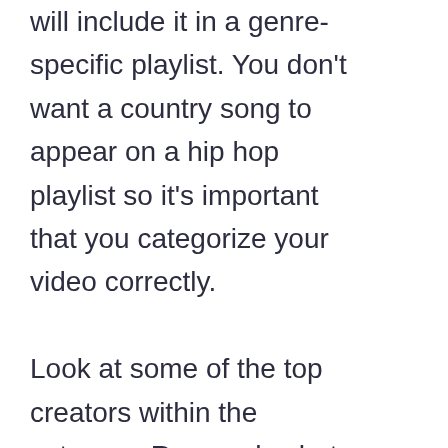will include it in a genre-specific playlist. You don't want a country song to appear on a hip hop playlist so it's important that you categorize your video correctly.

Look at some of the top creators within the category. Research what they do as f…